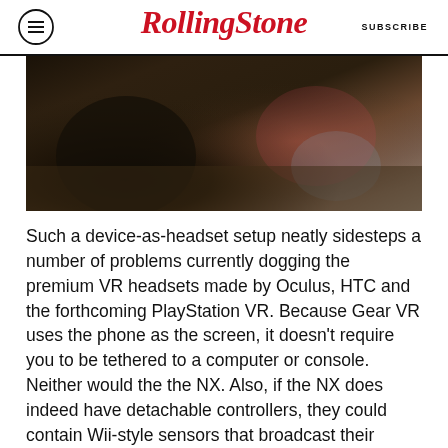RollingStone  SUBSCRIBE
[Figure (photo): Two people sitting on a couch in a dark setting, one wearing a black jacket and the other wearing a pink/red top and jeans]
Such a device-as-headset setup neatly sidesteps a number of problems currently dogging the premium VR headsets made by Oculus, HTC and the forthcoming PlayStation VR. Because Gear VR uses the phone as the screen, it doesn't require you to be tethered to a computer or console. Neither would the the NX. Also, if the NX does indeed have detachable controllers, they could contain Wii-style sensors that broadcast their position, enabling you to interact with games using your hands.